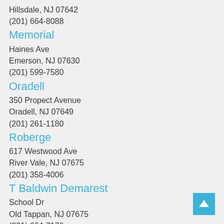Hillsdale, NJ 07642
(201) 664-8088
Memorial
Haines Ave
Emerson, NJ 07630
(201) 599-7580
Oradell
350 Propect Avenue
Oradell, NJ 07649
(201) 261-1180
Roberge
617 Westwood Ave
River Vale, NJ 07675
(201) 358-4006
T Baldwin Demarest
School Dr
Old Tappan, NJ 07675
(201) 664-7176
Woodside
801 Rivervale Rd
River Vale, NJ 07675
(201) 358-4028
Middle Schools